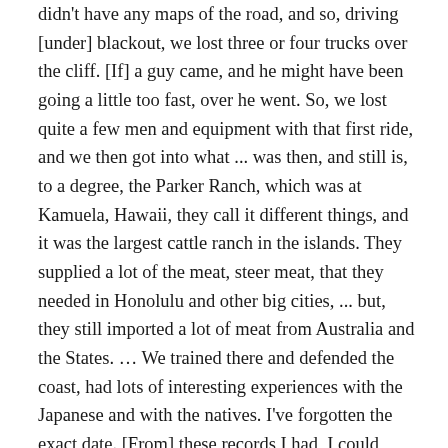didn't have any maps of the road, and so, driving [under] blackout, we lost three or four trucks over the cliff. [If] a guy came, and he might have been going a little too fast, over he went. So, we lost quite a few men and equipment with that first ride, and we then got into what ... was then, and still is, to a degree, the Parker Ranch, which was at Kamuela, Hawaii, they call it different things, and it was the largest cattle ranch in the islands. They supplied a lot of the meat, steer meat, that they needed in Honolulu and other big cities, ... but, they still imported a lot of meat from Australia and the States. … We trained there and defended the coast, had lots of interesting experiences with the Japanese and with the natives. I've forgotten the exact date. [From] these records I had, I could figure it out, somewhere in '43 or '44, the Japanese, it was learned by intelligence forces that they were mounting a fairly sizable force, troop ships, headed our way. So, the Old Man came down, and gave us a pep talk, and said that, "If we held on to the beaches for twenty-four hours, we'd be heroes, and, if we held out for thirty-six hours, boy, fantastic, and, if we'd hold out forty-eight hours, it was even better," and, you know, we